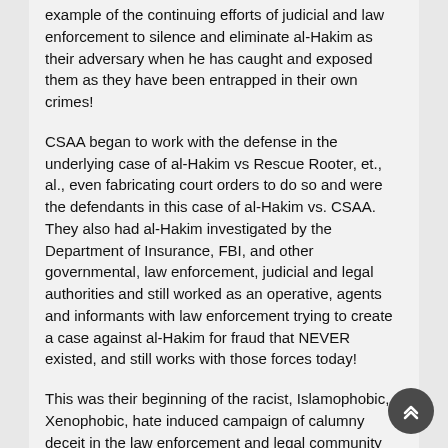example of the continuing efforts of judicial and law enforcement to silence and eliminate al-Hakim as their adversary when he has caught and exposed them as they have been entrapped in their own crimes!
CSAA began to work with the defense in the underlying case of al-Hakim vs Rescue Rooter, et., al., even fabricating court orders to do so and were the defendants in this case of al-Hakim vs. CSAA. They also had al-Hakim investigated by the Department of Insurance, FBI, and other governmental, law enforcement, judicial and legal authorities and still worked as an operative, agents and informants with law enforcement trying to create a case against al-Hakim for fraud that NEVER existed, and still works with those forces today!
This was their beginning of the racist, Islamophobic, Xenophobic, hate induced campaign of calumny deceit in the law enforcement and legal community and public at large to obtain a litigation advantage! The Rescue case ended with the retiring judge David Lee informing the jury that ALL the testimony of the defense had to be disregarded due to the subornation of perjurious testimony of ALL their witnesses and the source of most of the basis for their documents.
In the CSAA case the defendants were found guilty of fraud in the appraisal and to have used illegal values by judge, James